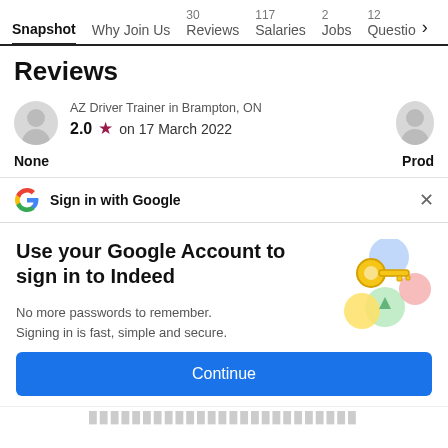Snapshot  Why Join Us  30 Reviews  117 Salaries  2 Jobs  12 Questio >
Reviews
AZ Driver Trainer in Brampton, ON
2.0 ★ on 17 March 2022
None  Prod
G  Sign in with Google  ×
Use your Google Account to sign in to Indeed
No more passwords to remember. Signing in is fast, simple and secure.
[Figure (illustration): Google sign-in key illustration with colorful circles and a golden key]
Continue